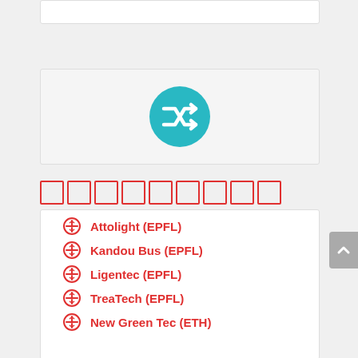[Figure (other): White card/panel at top of page]
[Figure (other): Teal circular shuffle/exchange icon on light grey background card]
□□□□□□□□□
Attolight (EPFL)
Kandou Bus (EPFL)
Ligentec (EPFL)
TreaTech (EPFL)
New Green Tec (ETH)